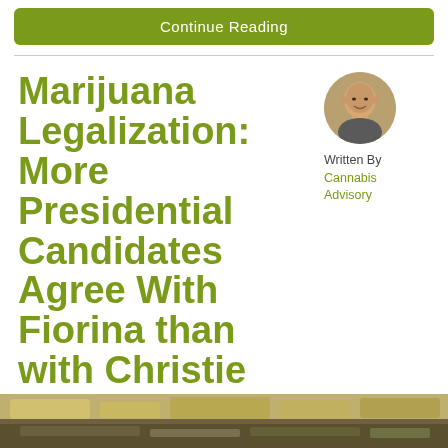Continue Reading
Marijuana Legalization: More Presidential Candidates Agree With Fiorina than with Christie
[Figure (photo): Circular avatar photo of a bald man smiling]
Written By Cannabis Advisory
[Figure (photo): Bottom partial image of a scene, cropped]